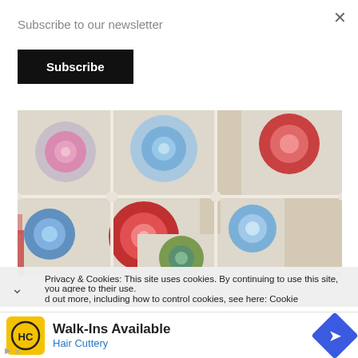Subscribe to our newsletter
Subscribe
[Figure (photo): Colorful crochet granny square blanket with flowers in blue, red, pink, purple, and green on a cream/white background]
Privacy & Cookies: This site uses cookies. By continuing to use this site, you agree to their use.
d out more, including how to control cookies, see here: Cookie
[Figure (logo): Hair Cuttery logo — HC letters in circle on yellow background]
Walk-Ins Available
Hair Cuttery